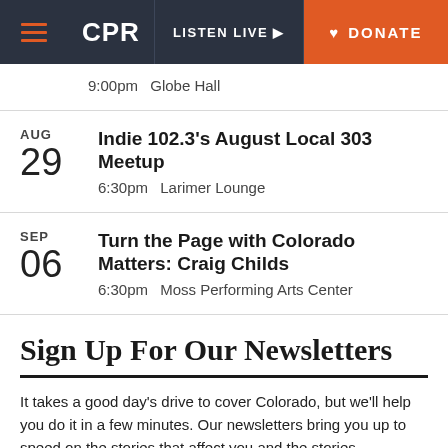CPR | LISTEN LIVE | DONATE
9:00pm  Globe Hall
AUG 29 — Indie 102.3's August Local 303 Meetup — 6:30pm  Larimer Lounge
SEP 06 — Turn the Page with Colorado Matters: Craig Childs — 6:30pm  Moss Performing Arts Center
Sign Up For Our Newsletters
It takes a good day’s drive to cover Colorado, but we’ll help you do it in a few minutes. Our newsletters bring you up to speed on the stories that affect you and the stories